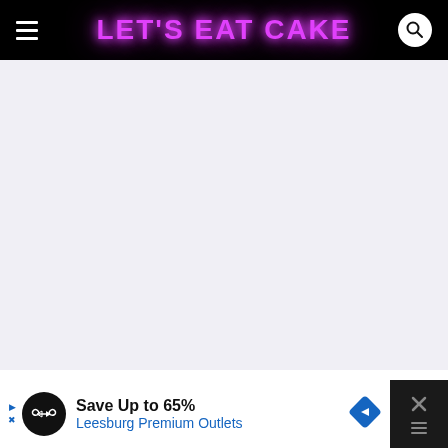LET'S EAT CAKE
[Figure (other): Large light gray blank content area below the header navigation bar, with a thin purple accent on the top-left edge.]
Save Up to 65% Leesburg Premium Outlets